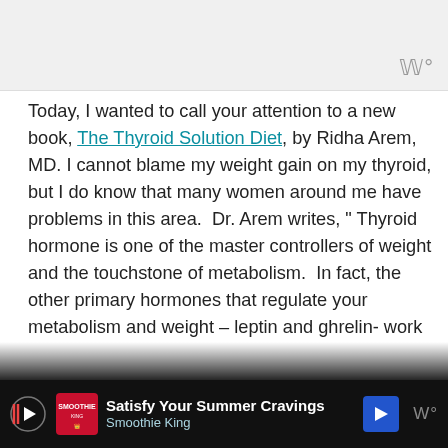[Figure (screenshot): Gray header banner area with white background, containing a stylized 'W°' logo in gray at the top right]
Today, I wanted to call your attention to a new book, The Thyroid Solution Diet, by Ridha Arem, MD. I cannot blame my weight gain on my thyroid, but I do know that many women around me have problems in this area.  Dr. Arem writes, " Thyroid hormone is one of the master controllers of weight and the touchstone of metabolism.  In fact, the other primary hormones that regulate your metabolism and weight – leptin and ghrelin- work th... The Thyroid...
[Figure (screenshot): Advertisement banner at the bottom: 'Satisfy Your Summer Cravings' from Smoothie King with play button, logo, and blue arrow navigation button. Gray 'W°' logo on right side.]